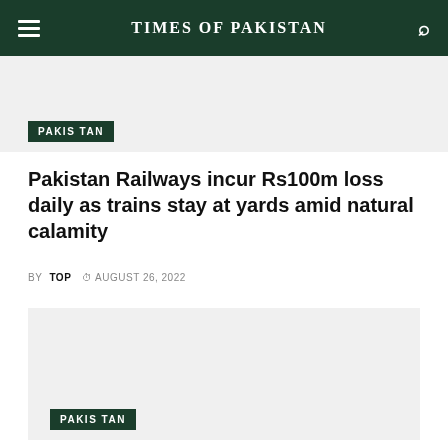TIMES OF PAKISTAN
[Figure (photo): Top article image placeholder with PAKISTAN badge overlay]
Pakistan Railways incur Rs100m loss daily as trains stay at yards amid natural calamity
BY TOP  © AUGUST 26, 2022
[Figure (photo): Bottom article image placeholder with PAKISTAN badge overlay]